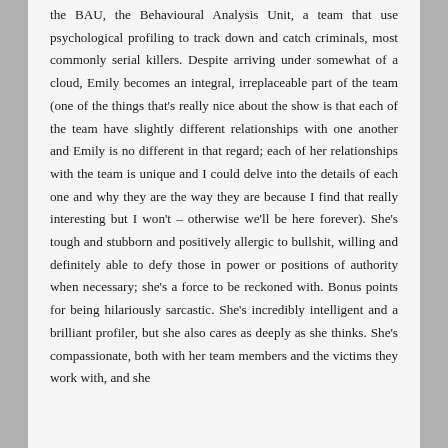the BAU, the Behavioural Analysis Unit, a team that use psychological profiling to track down and catch criminals, most commonly serial killers. Despite arriving under somewhat of a cloud, Emily becomes an integral, irreplaceable part of the team (one of the things that's really nice about the show is that each of the team have slightly different relationships with one another and Emily is no different in that regard; each of her relationships with the team is unique and I could delve into the details of each one and why they are the way they are because I find that really interesting but I won't – otherwise we'll be here forever). She's tough and stubborn and positively allergic to bullshit, willing and definitely able to defy those in power or positions of authority when necessary; she's a force to be reckoned with. Bonus points for being hilariously sarcastic. She's incredibly intelligent and a brilliant profiler, but she also cares as deeply as she thinks. She's compassionate, both with her team members and the victims they work with, and she